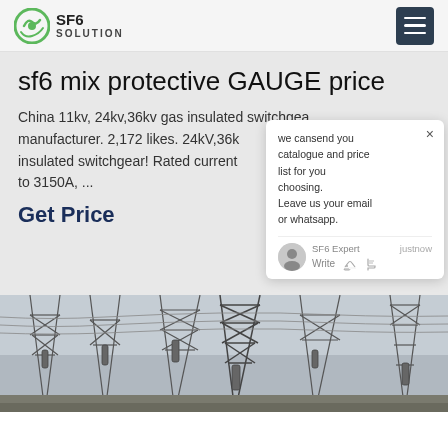SF6 SOLUTION
sf6 mix protective GAUGE price
China 11kv, 24kv,36kv gas insulated switchgear manufacturer. 2,172 likes. 24kV,36kv gas insulated switchgear! Rated current to 3150A, ...
Get Price
we cansend you catalogue and price list for you choosing. Leave us your email or whatsapp.
SF6 Expert  justnow
Write
[Figure (photo): Electrical substation with steel lattice towers, insulators, and high voltage transmission infrastructure photographed from below against a cloudy sky.]